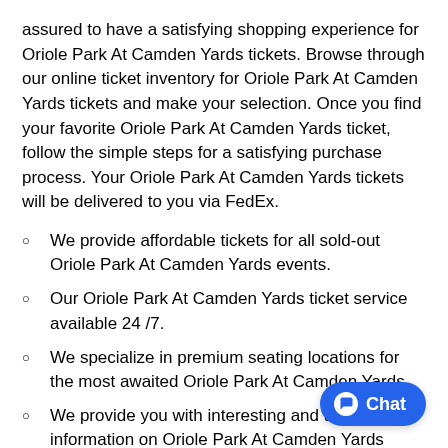assured to have a satisfying shopping experience for Oriole Park At Camden Yards tickets. Browse through our online ticket inventory for Oriole Park At Camden Yards tickets and make your selection. Once you find your favorite Oriole Park At Camden Yards ticket, follow the simple steps for a satisfying purchase process. Your Oriole Park At Camden Yards tickets will be delivered to you via FedEx.
We provide affordable tickets for all sold-out Oriole Park At Camden Yards events.
Our Oriole Park At Camden Yards ticket service available 24 /7.
We specialize in premium seating locations for the most awaited Oriole Park At Camden Yards.
We provide you with interesting and useful information on Oriole Park At Camden Yards schedules and venues.
All Oriole Park At Camden Yards tickets are backed with 100 % guarantee.